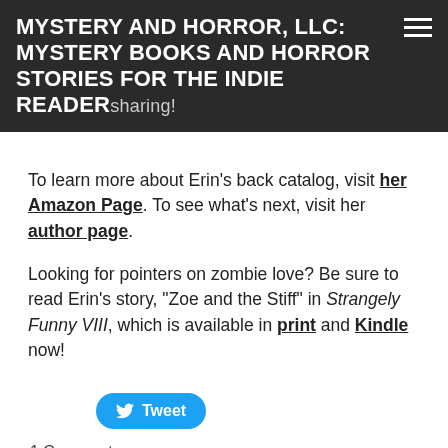MYSTERY AND HORROR, LLC: MYSTERY BOOKS AND HORROR STORIES FOR THE INDIE READER sharing!
To learn more about Erin's back catalog, visit her Amazon Page. To see what's next, visit her author page.
Looking for pointers on zombie love? Be sure to read Erin's story, "Zoe and the Stiff" in Strangely Funny VIII, which is available in print and Kindle now!
[Figure (other): Tweet button with Twitter bird logo]
1 Comment